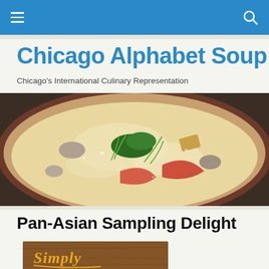Chicago Alphabet Soup — navigation bar
Chicago Alphabet Soup
Chicago's International Culinary Representation
[Figure (photo): Overhead close-up of a creamy soup bowl with mushrooms, herbs, tomato slices, chives, and croutons.]
Pan-Asian Sampling Delight
[Figure (photo): Restaurant sign or decorative panel reading 'Simply' in golden script on a warm brown background.]